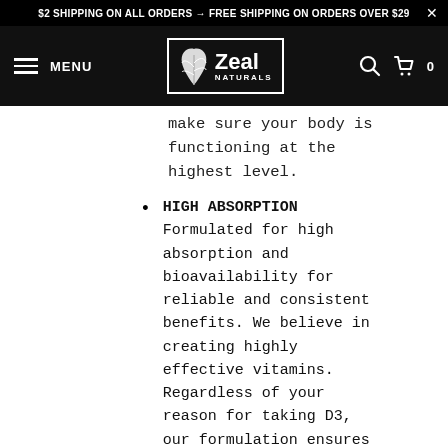$2 SHIPPING ON ALL ORDERS → FREE SHIPPING ON ORDERS OVER $29
[Figure (logo): Zeal Naturals logo with palm leaf icon, white text on black background, with MENU label and navigation icons]
make sure your body is functioning at the highest level.
HIGH ABSORPTION Formulated for high absorption and bioavailability for reliable and consistent benefits. We believe in creating highly effective vitamins. Regardless of your reason for taking D3, our formulation ensures you get the benefits when your body needs them.
TRUSTED INGREDIENTS Lab-Tested, GMP Compliant - Using only the highest-quality, thoroughly-tested